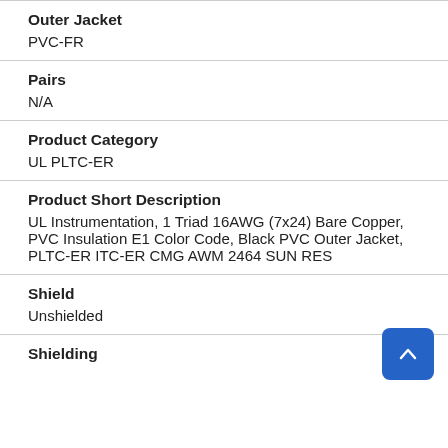Outer Jacket
PVC-FR
Pairs
N/A
Product Category
UL PLTC-ER
Product Short Description
UL Instrumentation, 1 Triad 16AWG (7x24) Bare Copper, PVC Insulation E1 Color Code, Black PVC Outer Jacket, PLTC-ER ITC-ER CMG AWM 2464 SUN RES
Shield
Unshielded
Shielding